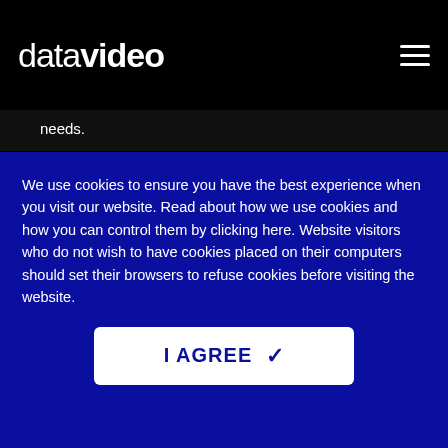datavideo
needs.
DVP-100
dv Prompter Pro server
We use cookies to ensure you have the best experience when you visit our website. Read about how we use cookies and how you can control them by clicking here. Website visitors who do not wish to have cookies placed on their computers should set their browsers to refuse cookies before visiting the website.
I AGREE